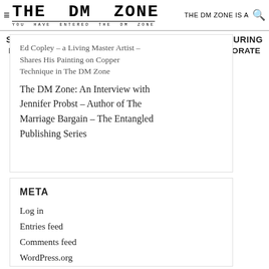THE DM ZONE — YOU HAVE ENTERED THE DM ZONE — THE DM ZONE IS A
SYNDICATED ONLINE TELEVISION CHANNEL FEATURING
INTERVIEWS WITH CREATIVE PROFESSIONALS, CORPORATE
– LEADERS AND GLOBAL EVENTS.
Ed Copley – a Living Master Artist –
Shares His Painting on Copper
Technique in The DM Zone
The DM Zone: An Interview with Jennifer Probst – Author of The Marriage Bargain – The Entangled Publishing Series
META
Log in
Entries feed
Comments feed
WordPress.org